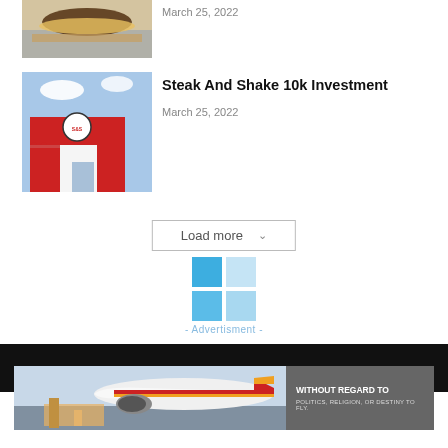March 25, 2022
[Figure (photo): Photo of a hamburger/food item on a tray with blue paper wrapping]
Steak And Shake 10k Investment
March 25, 2022
[Figure (photo): Photo of a Steak 'n Shake restaurant building exterior with red facade and large sign]
Load more
[Figure (logo): Blue grid/logo graphic above Advertisment label]
- Advertisment -
[Figure (photo): Banner advertisement photo showing a Southwest Airlines cargo plane being loaded, with text WITHOUT REGARD TO POLITICS, RELIGION, OR DESTINY TO FLY]